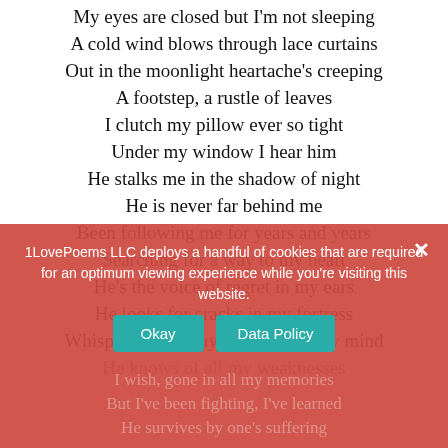My eyes are closed but I'm not sleeping
A cold wind blows through lace curtains
Out in the moonlight heartache's creeping
A footstep, a rustle of leaves
I clutch my pillow ever so tight
Under my window I hear him
He stalks me in the shadow of night
He is never far behind me
Been following me for years and years
Searching for a way to my heart
He's the voice of regret in my ears
He looks for cracks in my fortress
Whispering, he plays tricks with my mind
He knows of all my weaknesses
I wish, gone in all my memories
But I've been fighting, I've learned
He survives by one's suffering
1LovePoems LLC deploys a handful of cookies that are required for an optimum viewing experience while you're visiting this website.